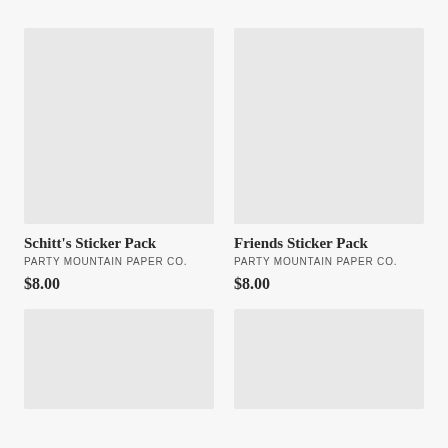[Figure (photo): Light gray placeholder product image for Schitt's Sticker Pack]
Schitt's Sticker Pack
PARTY MOUNTAIN PAPER CO.
$8.00
[Figure (photo): Light gray placeholder product image for Friends Sticker Pack]
Friends Sticker Pack
PARTY MOUNTAIN PAPER CO.
$8.00
[Figure (photo): Light gray placeholder product image, bottom-left, partially visible]
[Figure (photo): Light gray placeholder product image, bottom-right, partially visible]